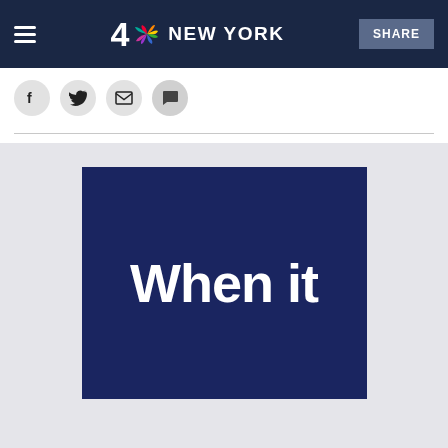4 NBC NEW YORK | SHARE
[Figure (screenshot): NBC 4 New York website screenshot showing header bar with hamburger menu, NBC 4 New York logo with peacock, and SHARE button. Below is a social sharing row with Facebook, Twitter, Email, and Comment icons. A dividing line separates the header from the main content area which shows a dark navy blue image with large white bold text reading 'When it'.]